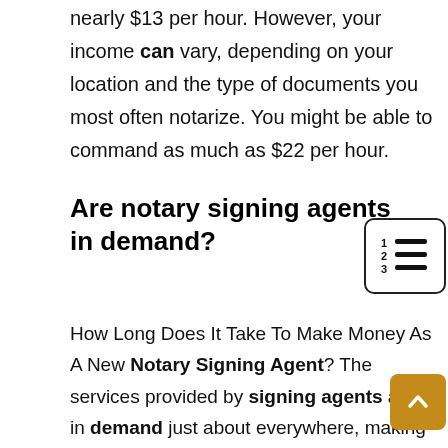nearly $13 per hour. However, your income can vary, depending on your location and the type of documents you most often notarize. You might be able to command as much as $22 per hour.
Are notary signing agents in demand?
How Long Does It Take To Make Money As A New Notary Signing Agent? The services provided by signing agents are in demand just about everywhere, making it a potentially lucrative venture. For many new signing agents, the prime concern is the amount of time it will take